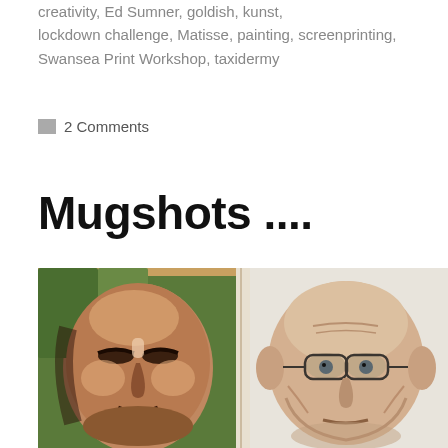creativity, Ed Sumner, goldish, kunst, lockdown challenge, Matisse, painting, screenprinting, Swansea Print Workshop, taxidermy
2 Comments
Mugshots ....
[Figure (photo): Two painted portrait mugshots side by side. Left: an expressive oil painting of a face with eyes closed, painted in warm reds and browns against a green background. Right: a pencil or watercolour sketch of an older man wearing glasses, rendered in grey and muted tones on a white background.]